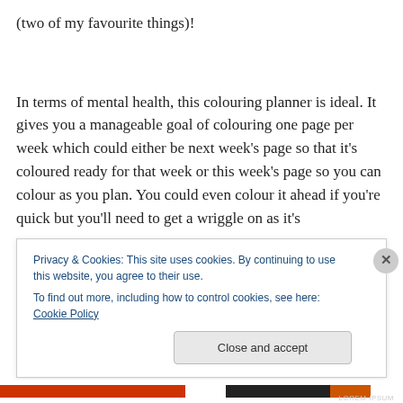(two of my favourite things)!
In terms of mental health, this colouring planner is ideal. It gives you a manageable goal of colouring one page per week which could either be next week’s page so that it’s coloured ready for that week or this week’s page so you can colour as you plan. You could even colour it ahead if you’re quick but you’ll need to get a wriggle on as it’s
Privacy & Cookies: This site uses cookies. By continuing to use this website, you agree to their use.
To find out more, including how to control cookies, see here: Cookie Policy